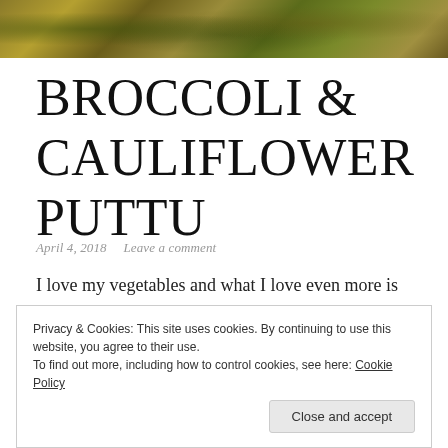[Figure (photo): Food photo banner at top showing broccoli and cauliflower dish with yellow/green tones]
BROCCOLI & CAULIFLOWER PUTTU
April 4, 2018   Leave a comment
I love my vegetables and what I love even more is coming up with new dishes where I can happily add two or more vegetables into one dish. And one of my recent experiments to make a dish quickly with broccoli and leftover cauliflower
Privacy & Cookies: This site uses cookies. By continuing to use this website, you agree to their use.
To find out more, including how to control cookies, see here: Cookie Policy
Close and accept